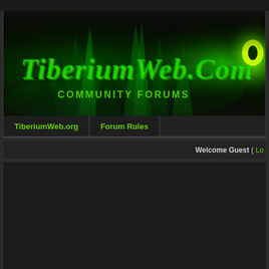[Figure (screenshot): TiberiumWeb.Com Community Forums banner with green glowing tiberium crystal imagery and large styled text]
TiberiumWeb.org | Forum Rules
Welcome Guest ( Lo...
TiberiumWeb.org Community Forums ▶ Tiberium Wars ▶ Tiberium Wars News
Kane's Wrath Released, Expansion to C&C3!